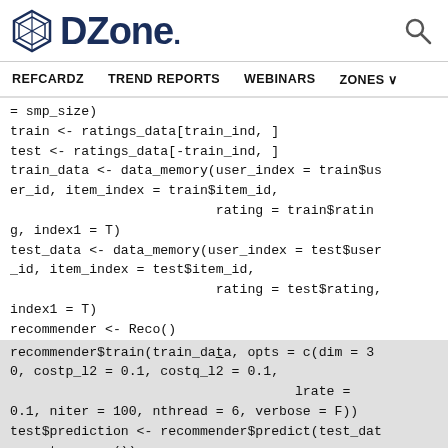DZone. [search icon]
REFCARDZ  TREND REPORTS  WEBINARS  ZONES
= smp_size)
train <- ratings_data[train_ind, ]
test <- ratings_data[-train_ind, ]
train_data <- data_memory(user_index = train$user_id, item_index = train$item_id,
                          rating = train$rating, index1 = T)
test_data <- data_memory(user_index = test$user_id, item_index = test$item_id,
                          rating = test$rating,
index1 = T)
recommender <- Reco()
recommender$train(train_data, opts = c(dim = 30, costp_l2 = 0.1, costq_l2 = 0.1,
                                      lrate =
0.1, niter = 100, nthread = 6, verbose = F))
test$prediction <- recommender$predict(test_data, out_memory())